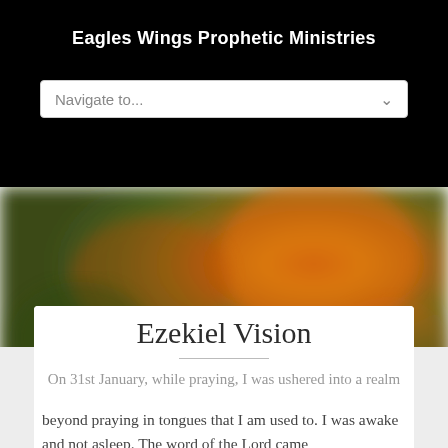Eagles Wings Prophetic Ministries
[Figure (screenshot): Navigation dropdown bar with placeholder text 'Navigate to...' and a chevron arrow on the right]
[Figure (photo): Blurred autumnal background image with orange, yellow, green bokeh tones]
Ezekiel Vision
On 31st January, while praying, I was ushered into a realm
beyond praying in tongues that I am used to. I was awake and not asleep. The word of the Lord came